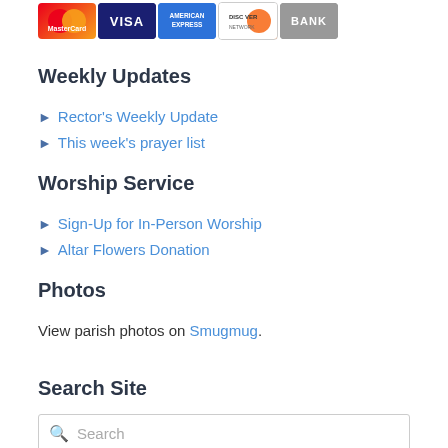[Figure (illustration): Row of payment card logos: MasterCard, VISA, American Express, Discover, and Bank card icons]
Weekly Updates
► Rector's Weekly Update
► This week's prayer list
Worship Service
► Sign-Up for In-Person Worship
► Altar Flowers Donation
Photos
View parish photos on Smugmug.
Search Site